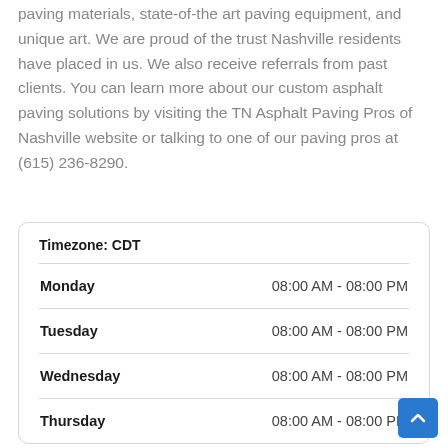paving materials, state-of-the art paving equipment, and unique art. We are proud of the trust Nashville residents have placed in us. We also receive referrals from past clients. You can learn more about our custom asphalt paving solutions by visiting the TN Asphalt Paving Pros of Nashville website or talking to one of our paving pros at (615) 236-8290.
| Day | Hours |
| --- | --- |
| Monday | 08:00 AM - 08:00 PM |
| Tuesday | 08:00 AM - 08:00 PM |
| Wednesday | 08:00 AM - 08:00 PM |
| Thursday | 08:00 AM - 08:00 PM |